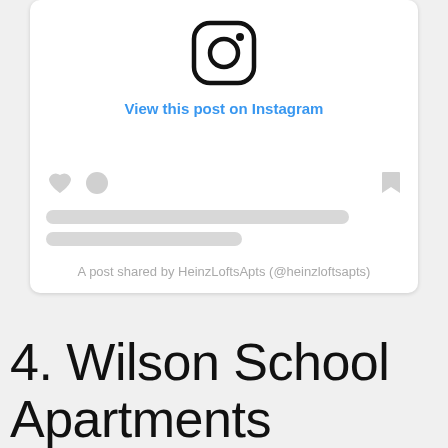[Figure (screenshot): Instagram embed card showing the Instagram logo icon at top, a blue 'View this post on Instagram' link, action icons (heart, comment, bookmark), skeleton loading bars, and attribution text 'A post shared by HeinzLoftsApts (@heinzloftsapts)']
4. Wilson School Apartments